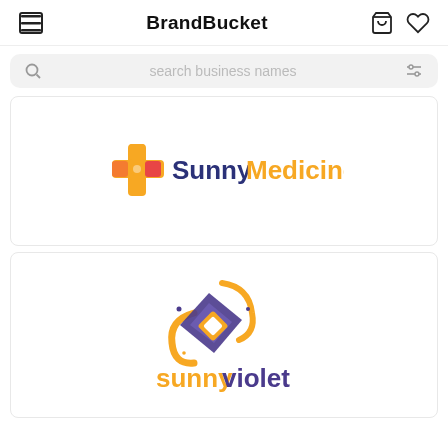BrandBucket
[Figure (screenshot): Search bar with magnifying glass icon and filter icon, placeholder text: search business names]
[Figure (logo): SunnyMedicine logo with a cross/medical icon in orange/yellow/red and dark blue and orange text reading SunnyMedicine]
[Figure (logo): sunnyviolet logo with a diamond-shaped swirl icon in gold/purple and text reading sunnyviolet in gold and purple]